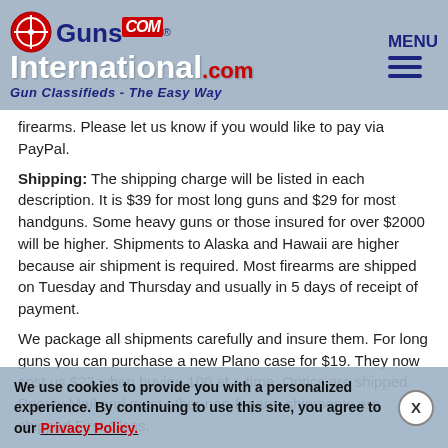GunsInternational.com - Gun Classifieds - The Easy Way | MENU
firearms. Please let us know if you would like to pay via PayPal.
Shipping: The shipping charge will be listed in each description. It is $39 for most long guns and $29 for most handguns. Some heavy guns or those insured for over $2000 will be higher. Shipments to Alaska and Hawaii are higher because air shipment is required. Most firearms are shipped on Tuesday and Thursday and usually in 5 days of receipt of payment.
We package all shipments carefully and insure them. For long guns you can purchase a new Plano case for $19. They now cost us $22 when buying 100 at a time. Optics are shipped Priority Mail and most other non-firearm shipments are shipped First Class.
Returns: Our return policy is simple. If for any reason you are not pleased with your purchase, you may return your item for a full refund of purchase price. Ammunition cannot be returned. It is important to us that you are happy. Guns cannot be fired or dissembled before returning them, and they must be returned to us in the same condition.
We use cookies to provide you with a personalized experience. By continuing to use this site, you agree to our Privacy Policy.